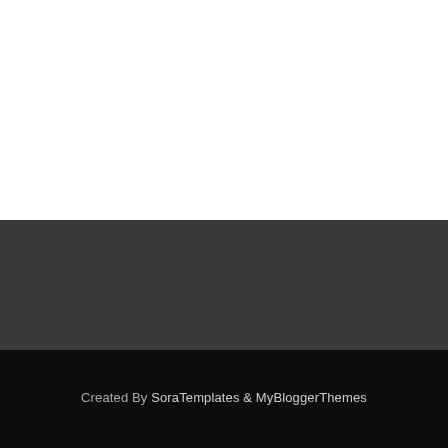Created By SoraTemplates & MyBloggerThemes